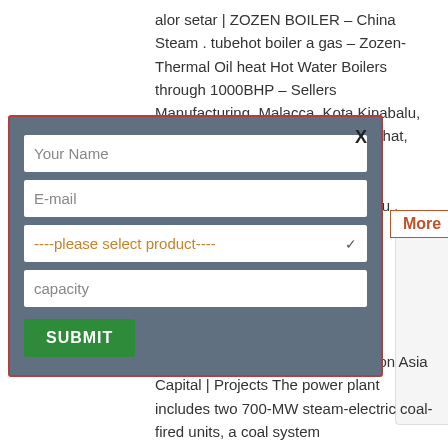alor setar | ZOZEN BOILER – China Steam . tubehot boiler a gas – Zozen-Thermal Oil heat Hot Water Boilers through 1000BHP – Sellers Manufacturing. Malacca, Kota Kinabalu, Seremban, Miri, Kuantan, Batu Pahat, Alor Setar, ulu .
[Figure (screenshot): A contact form modal with fields: Your Name, E-mail, a product select dropdown, capacity, and a SUBMIT button. The modal has a dark teal/slate background with a red border and an X close button.]
Coal Fired Boilers Alor Setar Boston Asia Capital | Projects The power plant includes two 700-MW steam-electric coal-fired units, a coal system